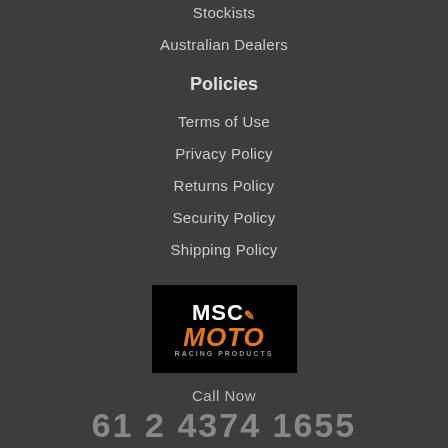Stockists
Australian Dealers
Policies
Terms of Use
Privacy Policy
Returns Policy
Security Policy
Shipping Policy
[Figure (logo): MSC Moto Racing Products logo on black background]
Call Now
61 2 4374 1655